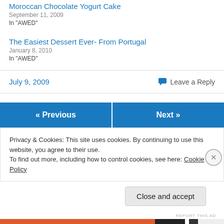Moroccan Chocolate Yogurt Cake
September 11, 2009
In "AWED"
The Easiest Dessert Ever- From Portugal
January 8, 2010
In "AWED"
July 9, 2009
Leave a Reply
« Previous
Next »
Privacy & Cookies: This site uses cookies. By continuing to use this website, you agree to their use.
To find out more, including how to control cookies, see here: Cookie Policy
Close and accept